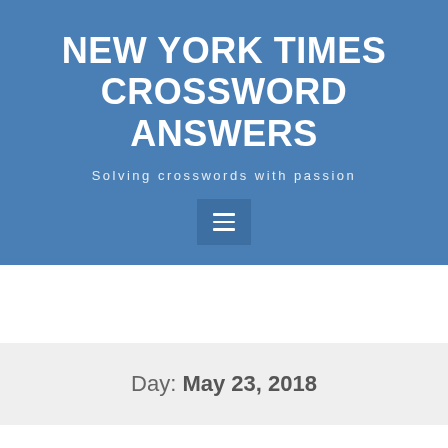NEW YORK TIMES CROSSWORD ANSWERS
Solving crosswords with passion
Day: May 23, 2018
New York Times Crossword Answers May 23, 2018